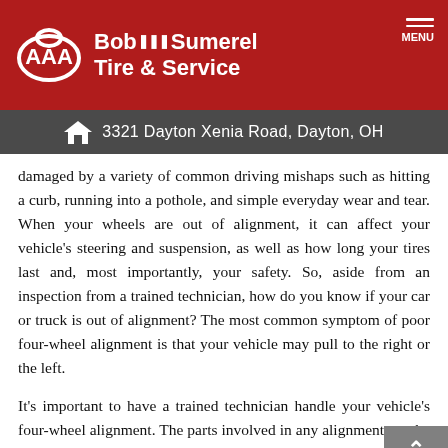Bob SSS Sumerel Tire & Service | 3321 Dayton Xenia Road, Dayton, OH
damaged by a variety of common driving mishaps such as hitting a curb, running into a pothole, and simple everyday wear and tear. When your wheels are out of alignment, it can affect your vehicle’s steering and suspension, as well as how long your tires last and, most importantly, your safety. So, aside from an inspection from a trained technician, how do you know if your car or truck is out of alignment? The most common symptom of poor four-wheel alignment is that your vehicle may pull to the right or the left.
It’s important to have a trained technician handle your vehicle’s four-wheel alignment. The parts involved in any alignment are the camber, caster,